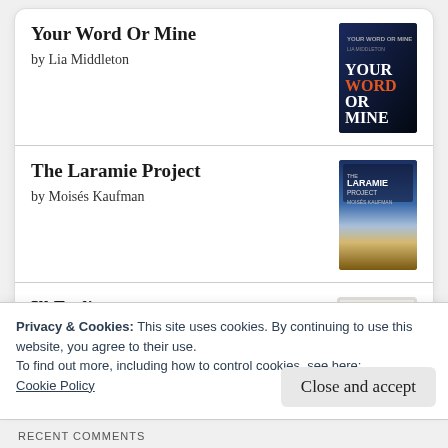Your Word Or Mine by Lia Middleton
The Laramie Project by Moisés Kaufman
Ill Feelings by Alice Hattrick
The Book of Form and Emptiness by Ruth Ozeki
Privacy & Cookies: This site uses cookies. By continuing to use this website, you agree to their use.
To find out more, including how to control cookies, see here: Cookie Policy
Close and accept
RECENT COMMENTS